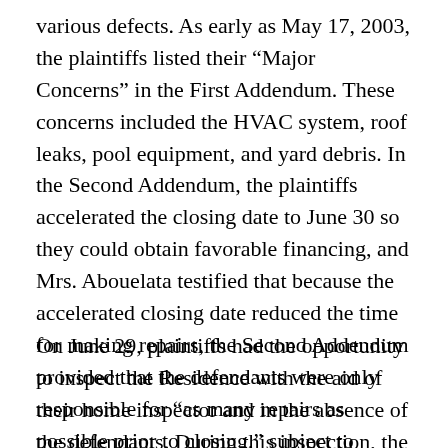various defects. As early as May 17, 2003, the plaintiffs listed their “Major Concerns” in the First Addendum. These concerns included the HVAC system, roof leaks, pool equipment, and yard debris. In the Second Addendum, the plaintiffs accelerated the closing date to June 30 so they could obtain favorable financing, and Mrs. Abouelata testified that because the accelerated closing date reduced the time for making repairs, the Second Addendum provided that the defendants were only responsible for “as many repairs as possible prior to closing,” subject to inspection by the Plaintiffs’ home inspector.
On June 29, plaintiffs had the opportunity to inspect the Residence with the aid of their home inspector and in the absence of the defendants. During this inspection, the plaintiffs found the